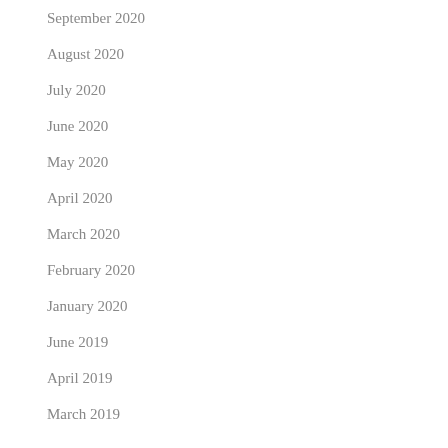September 2020
August 2020
July 2020
June 2020
May 2020
April 2020
March 2020
February 2020
January 2020
June 2019
April 2019
March 2019
Categories
Academics